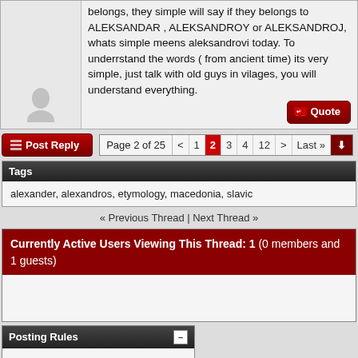belongs, they simple will say if they belongs to ALEKSANDAR , ALEKSANDROY or ALEKSANDROJ, whats simple meens aleksandrovi today. To underrstand the words ( from ancient time) its very simple, just talk with old guys in vilages, you will understand everything.
Post Reply | Page 2 of 25 < 1 2 3 4 12 > Last »
Tags
alexander, alexandros, etymology, macedonia, slavic
« Previous Thread | Next Thread »
Currently Active Users Viewing This Thread: 1 (0 members and 1 guests)
Posting Rules
You may not post new threads
You may not post replies